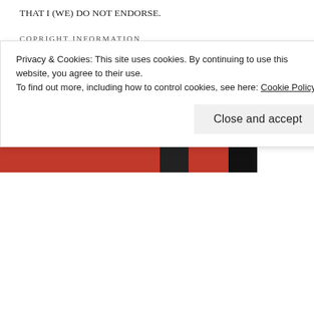THAT I (WE) DO NOT ENDORSE.
COPRIGHT INFORMATION
© 2010- 2022      Captivedreamswindow. wordpress.com and RobbyeFaye ALL RIGHTS RESERVED
© Robbie Pink, aka RobbyeFaye and CaptiveDreamsWindow, 2010-2022. Unauthorized use and/or duplication of this material without express and written permission from this site's author and/or owner is strictly prohibited. Excerpts and links may be used, provided that full and clear credit is given to Robbie Pink
Privacy & Cookies: This site uses cookies. By continuing to use this website, you agree to their use.
To find out more, including how to control cookies, see here: Cookie Policy
Close and accept